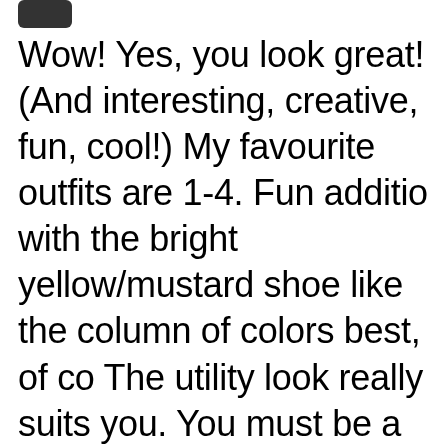[Figure (photo): Small avatar/profile image thumbnail in top left corner]
Wow! Yes, you look great! (And interesting, creative, fun, cool!) My favourite outfits are 1-4. Fun addition with the bright yellow/mustard shoes. I like the column of colors best, of course. The utility look really suits you. You must be a Kibbe Natural like Style P and Jenn (and me!), if I may throw diagnoses around 😁